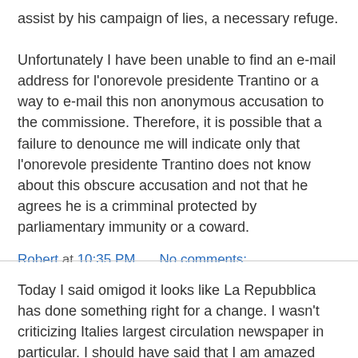assist by his campaign of lies, a necessary refuge.

Unfortunately I have been unable to find an e-mail address for l'onorevole presidente Trantino or a way to e-mail this non anonymous accusation to the commissione. Therefore, it is possible that a failure to denounce me will indicate only that l'onorevole presidente Trantino does not know about this obscure accusation and not that he agrees he is a crimminal protected by parliamentary immunity or a coward.
Robert at 10:35 PM    No comments:
Share
Today I said omigod it looks like La Repubblica has done something right for a change. I wasn't criticizing Italies largest circulation newspaper in particular. I should have said that I am amazed that 2 Italian journalists managed a good bit of investigative reporting. The best point is that their